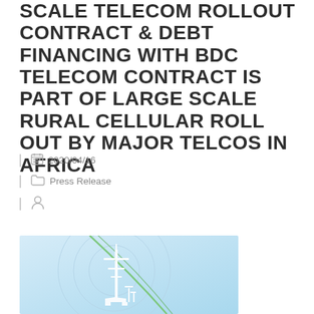SCALE TELECOM ROLLOUT CONTRACT & DEBT FINANCING WITH BDC TELECOM CONTRACT IS PART OF LARGE SCALE RURAL CELLULAR ROLL OUT BY MAJOR TELCOS IN AFRICA
2020/04/16
Press Release
[Figure (illustration): Illustration of a telecom tower with a light blue gradient background and green curved lines]